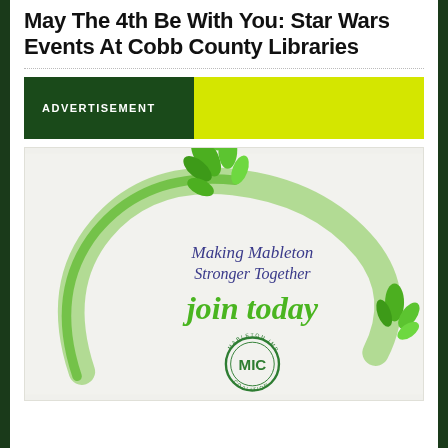May The 4th Be With You: Star Wars Events At Cobb County Libraries
[Figure (infographic): Advertisement banner with dark green left panel labeled ADVERTISEMENT and bright yellow-green right panel]
[Figure (illustration): Mableton Improvement Coalition advertisement with green leaf swirl design, text reading Making Mableton Stronger Together, join today, and MIC circular logo]